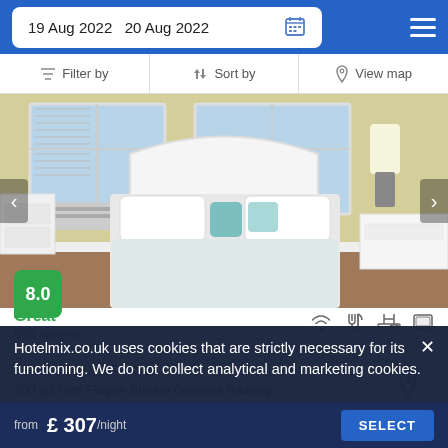19 Aug 2022  20 Aug 2022
Filter by  Sort by  View map
[Figure (photo): Hotel bedroom with white bed, yellow walls, two windows with shutters and air conditioning unit, blue lamp, white furniture]
8.0
Great
620 reviews
1.0 mi from City Centre
300 yd from Flagler Station Oversea Railway
Situated in a busy area, adjacent to a ferry port, the accommodation comes with a swimming pool.
Hotelmix.co.uk uses cookies that are strictly necessary for its functioning. We do not collect analytical and marketing cookies.
from  £ 307 /night
SELECT